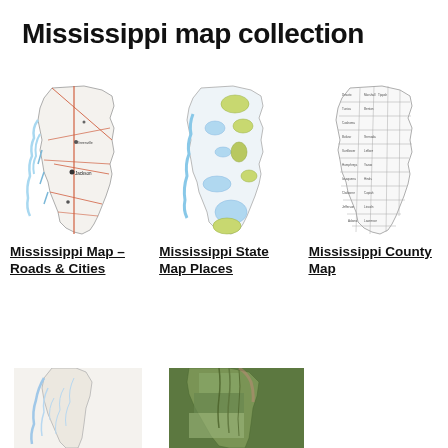Mississippi map collection
[Figure (map): Mississippi Map – Roads & Cities: road map of Mississippi showing highways, cities, and water features]
[Figure (map): Mississippi State Map Places: topographic/places map showing green highlighted regions and water bodies]
[Figure (map): Mississippi County Map: outline map showing county boundaries and names]
Mississippi Map – Roads & Cities
Mississippi State Map Places
Mississippi County Map
[Figure (map): Mississippi river/waterways map (partial, bottom of page)]
[Figure (map): Mississippi satellite/aerial map (partial, bottom of page)]